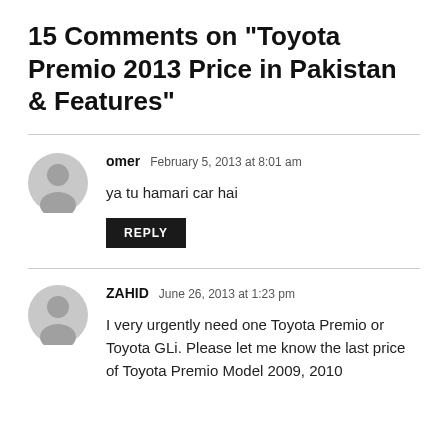15 Comments on “Toyota Premio 2013 Price in Pakistan & Features”
omer   February 5, 2013 at 8:01 am
ya tu hamari car hai
ZAHID   June 26, 2013 at 1:23 pm
I very urgently need one Toyota Premio or Toyota GLi. Please let me know the last price of Toyota Premio Model 2009, 2010